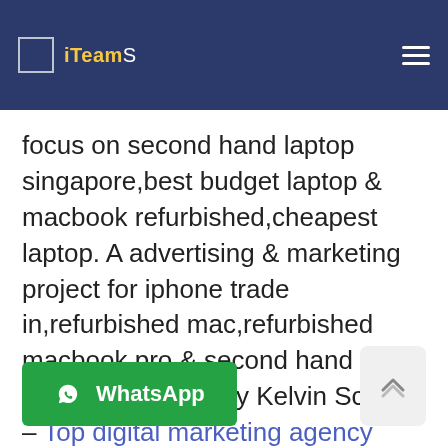Header with logo and navigation menu
focus on second hand laptop singapore,best budget laptop & macbook refurbished,cheapest laptop. A advertising & marketing project for iphone trade in,refurbished mac,refurbished macbook pro & second hand laptop singapore by Kelvin Scotts – Top digital marketing agency Singapore